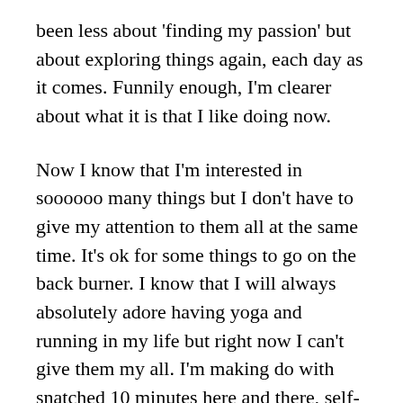been less about 'finding my passion' but about exploring things again, each day as it comes. Funnily enough, I'm clearer about what it is that I like doing now.
Now I know that I'm interested in soooooo many things but I don't have to give my attention to them all at the same time. It's ok for some things to go on the back burner. I know that I will always absolutely adore having yoga and running in my life but right now I can't give them my all. I'm making do with snatched 10 minutes here and there, self-practice at home that's a little rough round the edges. While I used to dream of running mountain races in far flung destinations I now